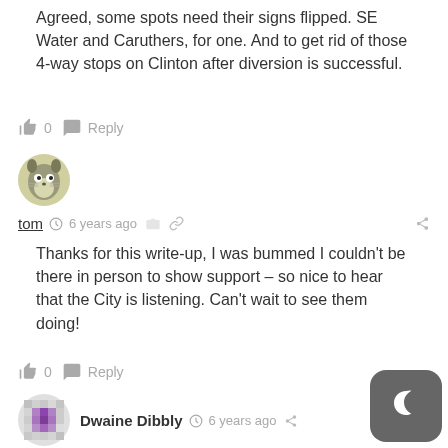Agreed, some spots need their signs flipped. SE Water and Caruthers, for one. And to get rid of those 4-way stops on Clinton after diversion is successful.
👍 0  Reply
[Figure (illustration): Totoro avatar icon, circular, grey/green tones]
tom  🕐 6 years ago  🔗
Thanks for this write-up, I was bummed I couldn't be there in person to show support – so nice to hear that the City is listening. Can't wait to see them doing!
👍 0  Reply
[Figure (illustration): Pixelated avatar icon, circular, purple square in center]
Dwaine Dibbly  🕐 6 years ago  🔗
[Figure (illustration): Dark mode toggle button, rounded square, moon icon]